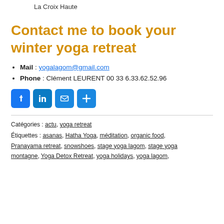La Croix Haute
Contact me to book your winter yoga retreat
Mail : yogalagom@gmail.com
Phone : Clément LEURENT 00 33 6.33.62.52.96
[Figure (infographic): Social sharing icons: Facebook, LinkedIn, Email, Share (plus sign), all in rounded blue squares]
Catégories : actu, yoga retreat
Étiquettes : asanas, Hatha Yoga, méditation, organic food, Pranayama retreat, snowshoes, stage yoga lagom, stage yoga montagne, Yoga Detox Retreat, yoga holidays, yoga lagom,